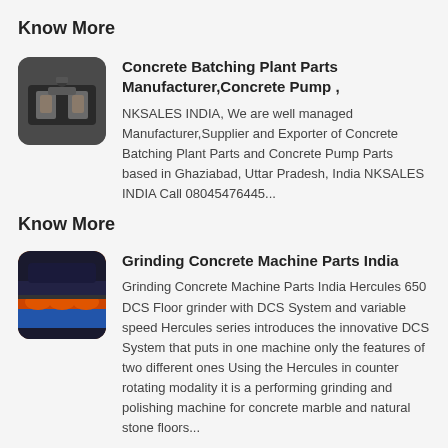Know More
[Figure (photo): Concrete batching plant machinery photo thumbnail]
Concrete Batching Plant Parts Manufacturer,Concrete Pump ,
NKSALES INDIA, We are well managed Manufacturer,Supplier and Exporter of Concrete Batching Plant Parts and Concrete Pump Parts based in Ghaziabad, Uttar Pradesh, India NKSALES INDIA Call 08045476445...
Know More
[Figure (photo): Grinding concrete machine photo thumbnail showing orange/red grinding pads on blue machine]
Grinding Concrete Machine Parts India
Grinding Concrete Machine Parts India Hercules 650 DCS Floor grinder with DCS System and variable speed Hercules series introduces the innovative DCS System that puts in one machine only the features of two different ones Using the Hercules in counter rotating modality it is a performing grinding and polishing machine for concrete marble and natural stone floors...
Know More